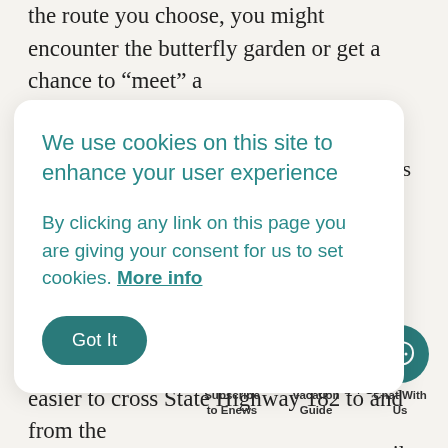the route you choose, you might encounter the butterfly garden or get a chance to “meet” a
We use cookies on this site to enhance your user experience
By clicking any link on this page you are giving your consent for us to set cookies. More info
Got It
ching is
aches
over
ot easily
ouilt
s to
oortant,
especially on hi
Alabama sun is
now include tw
easier to cross State Highway 182 to and from the